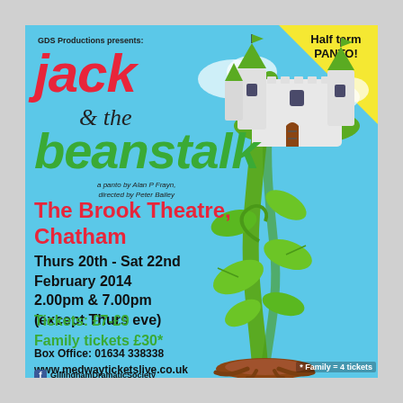GDS Productions presents:
jack & the beanstalk
a panto by Alan P Frayn, directed by Peter Bailey
Half term PANTO!
The Brook Theatre, Chatham
Thurs 20th - Sat 22nd February 2014 2.00pm & 7.00pm (except Thurs eve)
Tickets: £7-£9 Family tickets £30*
Box Office: 01634 338338
www.medwayticketslive.co.uk
GillinghamDramaticSociety
@TheGDSTweets
www.gillinghamdramatic.co.uk
This is an amateur production produced in association with NODA
[Figure (illustration): Cartoon illustration of a giant beanstalk with a white castle at the top, green leaves, and brown roots at the bottom, on a light blue sky background with clouds]
* Family = 4 tickets